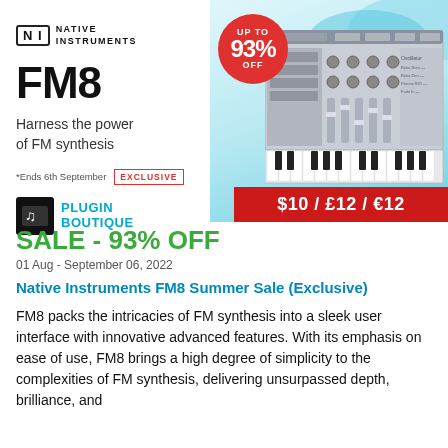[Figure (illustration): Native Instruments FM8 product advertisement banner. Left side shows NI logo, FM8 title text, tagline, Exclusive badge, Plugin Boutique logo. Right side shows FM8 synthesizer software screenshot with a red circle badge saying UP TO 93% OFF, and a red price banner showing $10 / £12 / €12. Background has light blue hills/curves decoration.]
SALE - 93% OFF
01 Aug - September 06, 2022
Native Instruments FM8 Summer Sale (Exclusive)
FM8 packs the intricacies of FM synthesis into a sleek user interface with innovative advanced features. With its emphasis on ease of use, FM8 brings a high degree of simplicity to the complexities of FM synthesis, delivering unsurpassed depth, brilliance, and